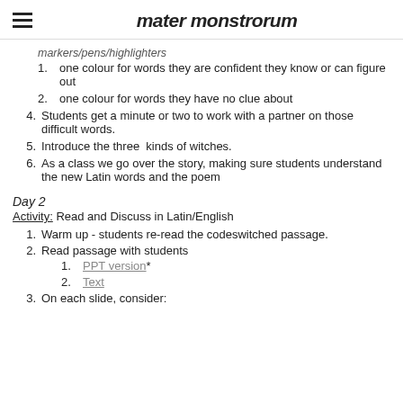mater monstrorum
markers/pens/highlighters
one colour for words they are confident they know or can figure out
one colour for words they have no clue about
Students get a minute or two to work with a partner on those difficult words.
Introduce the three kinds of witches.
As a class we go over the story, making sure students understand the new Latin words and the poem
Day 2
Activity: Read and Discuss in Latin/English
Warm up - students re-read the codeswitched passage.
Read passage with students
PPT version*
Text
On each slide, consider: